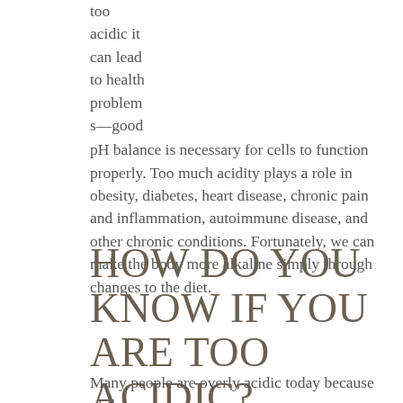too acidic it can lead to health problems—good pH balance is necessary for cells to function properly. Too much acidity plays a role in obesity, diabetes, heart disease, chronic pain and inflammation, autoimmune disease, and other chronic conditions. Fortunately, we can make the body more alkaline simply through changes to the diet.
HOW DO YOU KNOW IF YOU ARE TOO ACIDIC?
Many people are overly acidic today because of the